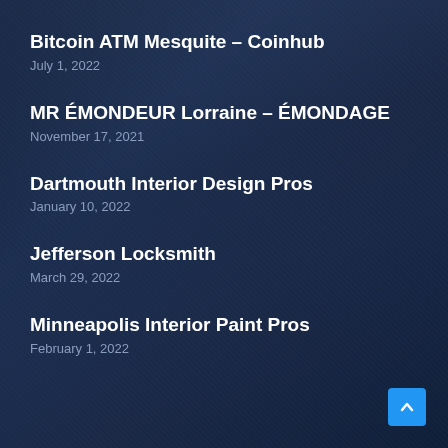Bitcoin ATM Mesquite – Coinhub
July 1, 2022
MR ÉMONDEUR Lorraine – ÉMONDAGE
November 17, 2021
Dartmouth Interior Design Pros
January 10, 2022
Jefferson Locksmith
March 29, 2022
Minneapolis Interior Paint Pros
February 1, 2022